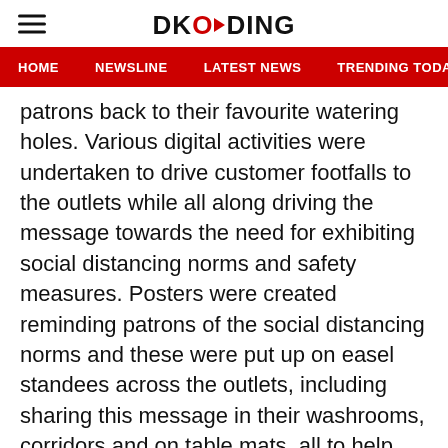DKODING
HOME  NEWSLINE  LATEST NEWS  TRENDING TODAY  ENT
patrons back to their favourite watering holes. Various digital activities were undertaken to drive customer footfalls to the outlets while all along driving the message towards the need for exhibiting social distancing norms and safety measures. Posters were created reminding patrons of the social distancing norms and these were put up on easel standees across the outlets, including sharing this message in their washrooms, corridors and on table mats, all to help people enjoy themselves while following the rules.